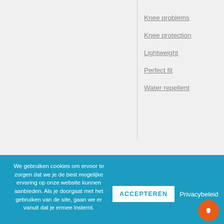Knee problems
Knee protection
Lightweight
Perfect fit
Water repellent
YOU MAY ALSO LIKE...
We gebruiken cookies om ervoor te zorgen dat we je de best mogelijke ervaring op onze website kunnen aanbieden. Als je doorgaat met het gebruiken van de site, gaan we er vanuit dat je ermee instemt.
ACCEPTEREN
Privacybeleid